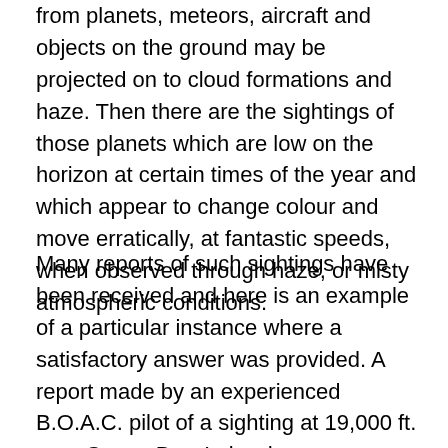from planets, meteors, aircraft and objects on the ground may be projected on to cloud formations and haze. Then there are the sightings of those planets which are low on the horizon at certain times of the year and which appear to change colour and move erratically, at fantastic speeds, when observed through haze, or misty atmospheric conditions.
Many reports of such sightings have been received and here is an example of a particular instance where a satisfactory answer was provided. A report made by an experienced B.O.A.C. pilot of a sighting at 19,000 ft. over Goose Bay, Labrador, on Wednesday, 30th June, 1954, stated that objects had been observed, one primary and six secondary, which “accompanied” the B.O.A.C. aircraft for a distance of about 80 miles; all the time they were under observation, the main object was constantly